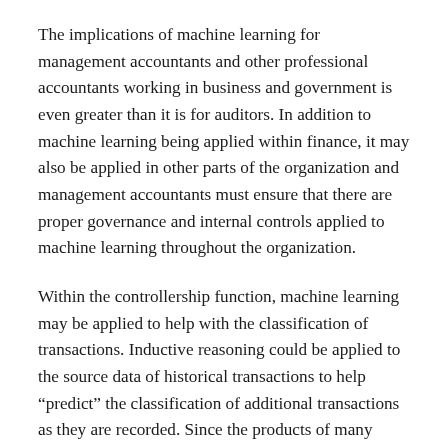The implications of machine learning for management accountants and other professional accountants working in business and government is even greater than it is for auditors. In addition to machine learning being applied within finance, it may also be applied in other parts of the organization and management accountants must ensure that there are proper governance and internal controls applied to machine learning throughout the organization.
Within the controllership function, machine learning may be applied to help with the classification of transactions. Inductive reasoning could be applied to the source data of historical transactions to help “predict” the classification of additional transactions as they are recorded. Since the products of many vendors have a fairly consistent natural classification, for the most part this is ok. However, there are some vendors that could be placed in different natural classifications